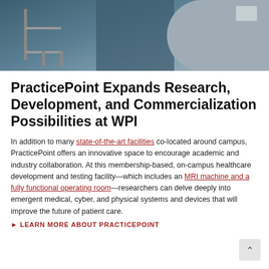[Figure (photo): A person in blue medical scrubs working with medical equipment including what appears to be an MRI machine in a clinical/lab setting.]
PracticePoint Expands Research, Development, and Commercialization Possibilities at WPI
In addition to many state-of-the-art facilities co-located around campus, PracticePoint offers an innovative space to encourage academic and industry collaboration. At this membership-based, on-campus healthcare development and testing facility—which includes an MRI machine and a fully functional operating room—researchers can delve deeply into emergent medical, cyber, and physical systems and devices that will improve the future of patient care.
▶ LEARN MORE ABOUT PRACTICEPOINT